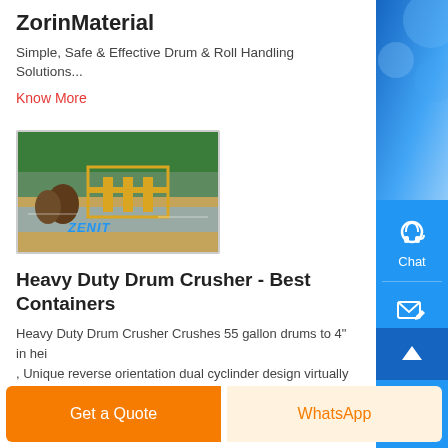ZorinMaterial
Simple, Safe & Effective Drum & Roll Handling Solutions...
Know More
[Figure (photo): Outdoor industrial machinery scene with ZENIT branding, showing equipment operating near water and gravel with green vegetation in background]
Heavy Duty Drum Crusher - Best Containers
Heavy Duty Drum Crusher Crushes 55 gallon drums to 4" in hei, Unique reverse orientation dual cyclinder design virtually eliminates possibility of bent rods;...
Get a Quote
WhatsApp